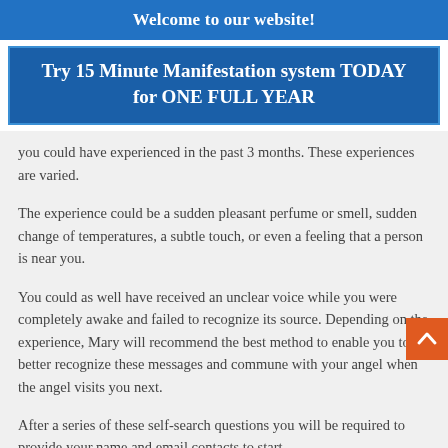Welcome to our website!
Try 15 Minute Manifestation system TODAY for ONE FULL YEAR
you could have experienced in the past 3 months. These experiences are varied.
The experience could be a sudden pleasant perfume or smell, sudden change of temperatures, a subtle touch, or even a feeling that a person is near you.
You could as well have received an unclear voice while you were completely awake and failed to recognize its source. Depending on the experience, Mary will recommend the best method to enable you to better recognize these messages and commune with your angel when the angel visits you next.
After a series of these self-search questions you will be required to provide your name and email contacts to start